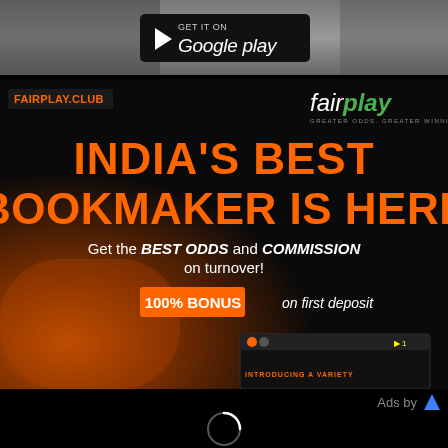[Figure (screenshot): Google Play store button/banner at the top with dark background and person in background]
[Figure (screenshot): FairPlay.club advertisement banner: India's Best Bookmaker Is Here. Get the BEST ODDS and COMMISSION on turnover! 100% BONUS on first deposit. Orange and black themed with app screenshot preview.]
Ads by
[Figure (other): Loading spinner (white circle arc) on black background]